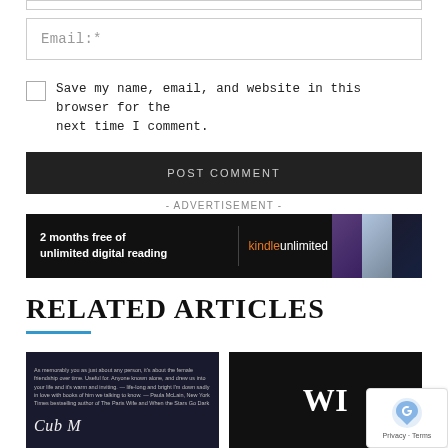Email:*
Save my name, email, and website in this browser for the next time I comment.
POST COMMENT
- ADVERTISEMENT -
[Figure (infographic): Kindle Unlimited advertisement banner: '2 months free of unlimited digital reading | kindleunlimited' with book covers on the right]
RELATED ARTICLES
[Figure (photo): Dark book cover with cursive script text, possibly a novel]
[Figure (photo): Dark book cover with large white letters WI...]